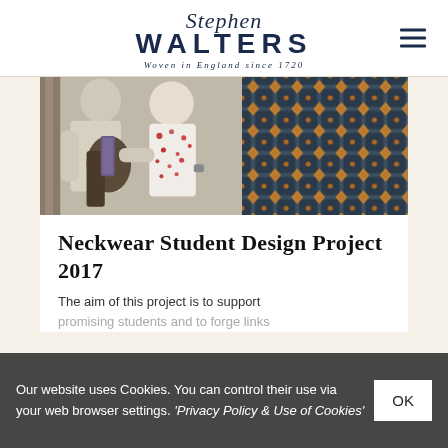[Figure (logo): Stephen Walters logo with script 'Stephen' above bold 'WALTERS' and italic tagline 'Woven in England since 1720']
[Figure (photo): Two people examining fabric samples; on the right, a close-up of a dark teal and gold geometric woven fabric pattern]
Neckwear Student Design Project 2017
The aim of this project is to support promising students and to forge links...
Our website uses Cookies. You can control their use via your web browser settings. 'Privacy Policy & Use of Cookies'